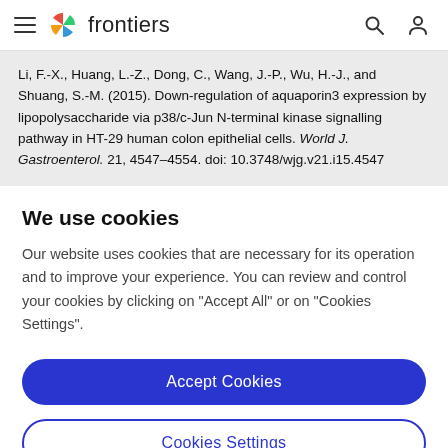frontiers
Li, F.-X., Huang, L.-Z., Dong, C., Wang, J.-P., Wu, H.-J., and Shuang, S.-M. (2015). Down-regulation of aquaporin3 expression by lipopolysaccharide via p38/c-Jun N-terminal kinase signalling pathway in HT-29 human colon epithelial cells. World J. Gastroenterol. 21, 4547–4554. doi: 10.3748/wjg.v21.i15.4547
We use cookies
Our website uses cookies that are necessary for its operation and to improve your experience. You can review and control your cookies by clicking on "Accept All" or on "Cookies Settings".
Accept Cookies
Cookies Settings